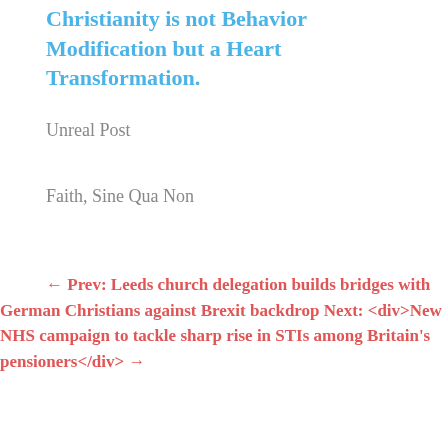Christianity is not Behavior Modification but a Heart Transformation.
Unreal Post
Faith, Sine Qua Non
← Prev: Leeds church delegation builds bridges with German Christians against Brexit backdrop Next: <div>New NHS campaign to tackle sharp rise in STIs among Britain's pensioners</div> →